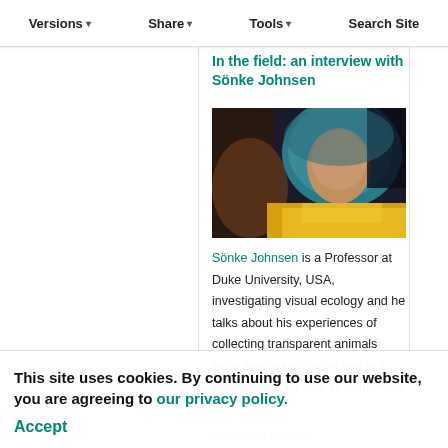Versions ▾   Share ▾   Tools ▾   Search Site
In the field: an interview with Sönke Johnsen
[Figure (photo): Portrait photo of Sönke Johnsen wearing a teal/blue hood and yellow jacket]
Sönke Johnsen is a Professor at Duke University, USA, investigating visual ecology and he talks about his experiences of collecting transparent animals while blue water diving and in a submersible, as well as outrunning Hurricane Katrina.
This site uses cookies. By continuing to use our website, you are agreeing to our privacy policy. Accept